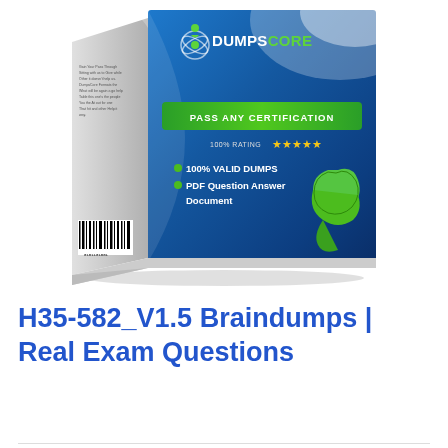[Figure (illustration): DumpsCore product box with blue front face showing 'PASS ANY CERTIFICATION', '100% RATING' with 5 stars, '100% VALID DUMPS', 'PDF Question Answer Document', and a green PDF icon. Box also has a white/grey left side face with small text and barcode.]
H35-582_V1.5 Braindumps | Real Exam Questions